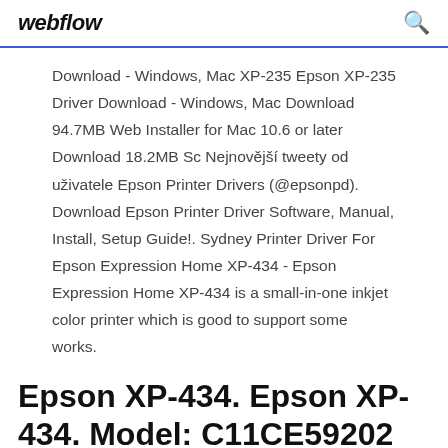webflow
Download - Windows, Mac XP-235 Epson XP-235 Driver Download - Windows, Mac Download 94.7MB Web Installer for Mac 10.6 or later Download 18.2MB Sc Nejnovější tweety od uživatele Epson Printer Drivers (@epsonpd). Download Epson Printer Driver Software, Manual, Install, Setup Guide!. Sydney Printer Driver For Epson Expression Home XP-434 - Epson Expression Home XP-434 is a small-in-one inkjet color printer which is good to support some works.
Epson XP-434. Epson XP-434. Model: C11CE59202 Downloads.